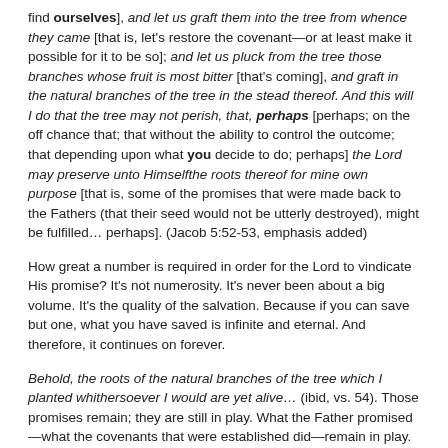find ourselves], and let us graft them into the tree from whence they came [that is, let's restore the covenant—or at least make it possible for it to be so]; and let us pluck from the tree those branches whose fruit is most bitter [that's coming], and graft in the natural branches of the tree in the stead thereof. And this will I do that the tree may not perish, that, perhaps [perhaps; on the off chance that; that without the ability to control the outcome; that depending upon what you decide to do; perhaps] the Lord may preserve unto Himself the roots thereof for mine own purpose [that is, some of the promises that were made back to the Fathers (that their seed would not be utterly destroyed), might be fulfilled… perhaps]. (Jacob 5:52-53, emphasis added)
How great a number is required in order for the Lord to vindicate His promise? It's not numerosity. It's never been about a big volume. It's the quality of the salvation. Because if you can save but one, what you have saved is infinite and eternal. And therefore, it continues on forever.
Behold, the roots of the natural branches of the tree which I planted whithersoever I would are yet alive… (ibid, vs. 54). Those promises remain; they are still in play. What the Father promised—what the covenants that were established did—remain in play. It is yet possible for the Lord to vindicate everything that has been given.
Wherefore, that I may preserve them also for mine own purpose, I will take of the branches of this tree, and I will graft them in unto them (ibid). This is the